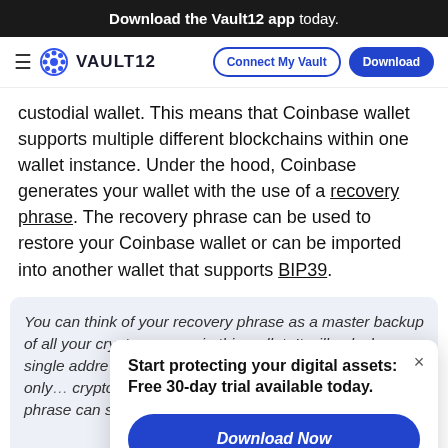Download the Vault12 app today.
[Figure (logo): Vault12 navigation bar with hamburger menu, Vault12 logo, Connect My Vault and Download buttons]
custodial wallet. This means that Coinbase wallet supports multiple different blockchains within one wallet instance. Under the hood, Coinbase generates your wallet with the use of a recovery phrase. The recovery phrase can be used to restore your Coinbase wallet or can be imported into another wallet that supports BIP39.
You can think of your recovery phrase as a master backup of all your cryptocurrency in this wallet. It will unlock every single addre… phrase ensu… compliant w… phrase only… cryptocurren… phrase, you… funds may b… phrase can spend all of that cryptocurrency.
Start protecting your digital assets: Free 30-day trial available today.